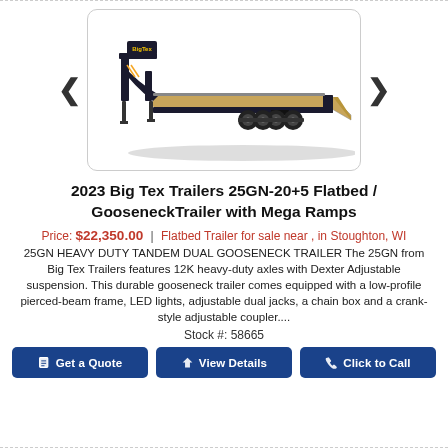[Figure (photo): Big Tex Trailers 25GN-20+5 flatbed gooseneck trailer with mega ramps, shown on white background with shadow underneath]
2023 Big Tex Trailers 25GN-20+5 Flatbed / GooseneckTrailer with Mega Ramps
Price: $22,350.00 | Flatbed Trailer for sale near , in Stoughton, WI
25GN HEAVY DUTY TANDEM DUAL GOOSENECK TRAILER The 25GN from Big Tex Trailers features 12K heavy-duty axles with Dexter Adjustable suspension. This durable gooseneck trailer comes equipped with a low-profile pierced-beam frame, LED lights, adjustable dual jacks, a chain box and a crank-style adjustable coupler....
Stock #: 58665
Get a Quote | View Details | Click to Call